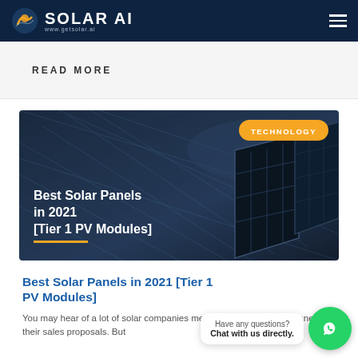SOLAR AI www.getsolar.ai
READ MORE
[Figure (photo): Dark blue banner image showing solar panels with text overlay 'Best Solar Panels in 2021 [Tier 1 PV Modules]' and a TECHNOLOGY badge in orange.]
Best Solar Panels in 2021 [Tier 1 PV Modules]
You may hear of a lot of solar companies mentioning "Tier 1" solar panels in their sales proposals. But